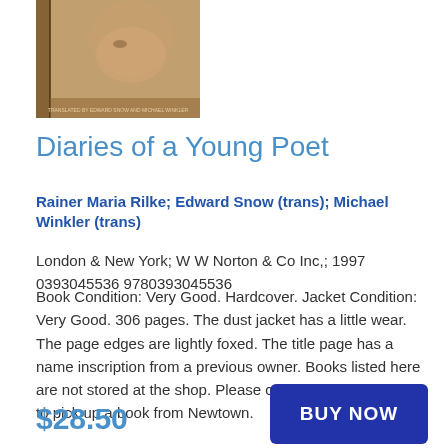[Figure (photo): Book cover image of 'Diaries of a Young Poet' showing a partial portrait face in muted warm tones with text at the bottom]
Diaries of a Young Poet
Rainer Maria Rilke; Edward Snow (trans); Michael Winkler (trans)
London & New York; W W Norton & Co Inc,; 1997
0393045536 9780393045536
Book Condition: Very Good. Hardcover. Jacket Condition: Very Good. 306 pages. The dust jacket has a little wear. The page edges are lightly foxed. The title page has a name inscription from a previous owner. Books listed here are not stored at the shop. Please contact us if you want to pick up a book from Newtown.
$28.50
BUY NOW